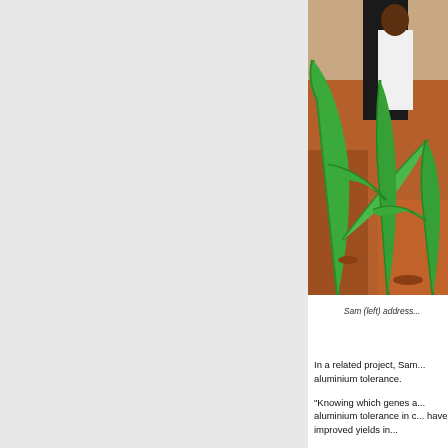[Figure (photo): Photo of Sam (left) addressing a group in a field of young maize/corn plants growing in red-brown soil. A person in a white shirt is visible in the background.]
Sam (left) address...
In a related project, Sam... aluminium tolerance.
“Knowing which genes a... aluminium tolerance in c... have improved yields in...